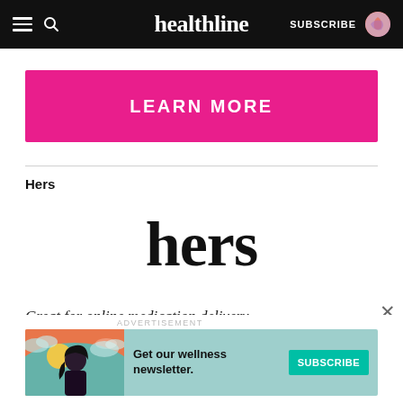healthline — SUBSCRIBE
[Figure (other): Pink 'LEARN MORE' call-to-action button]
Hers
[Figure (logo): Hers brand logo in large serif black text]
Great for online medication delivery
[Figure (infographic): Advertisement banner: Get our wellness newsletter. SUBSCRIBE button with illustrated woman figure on teal/orange background.]